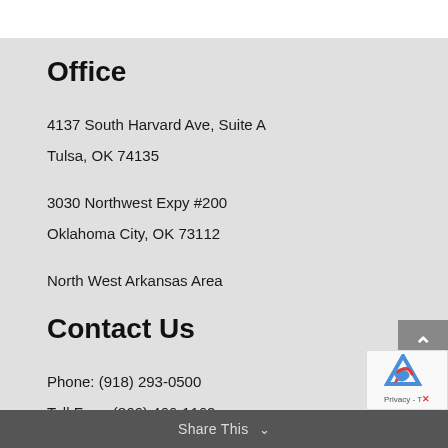Office
4137 South Harvard Ave, Suite A
Tulsa, OK 74135
3030 Northwest Expy #200
Oklahoma City, OK 73112
North West Arkansas Area
Contact Us
Phone: (918) 293-0500
Toll Free: (866) 466-1162
Share This